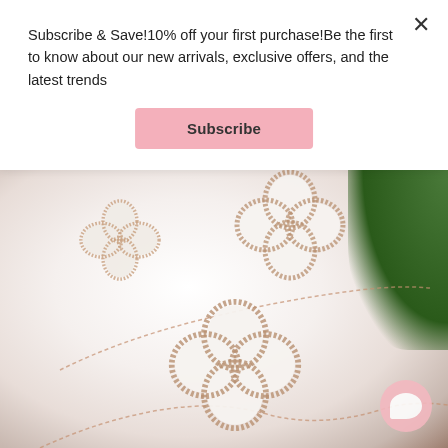Subscribe & Save!10% off your first purchase!Be the first to know about our new arrivals, exclusive offers, and the latest trends
Subscribe
[Figure (photo): Close-up photo of rose gold clover/flower shaped bracelets with mother-of-pearl and crystal/diamond halo detailing, displayed on a white ceramic plate with green ivy leaves in the background]